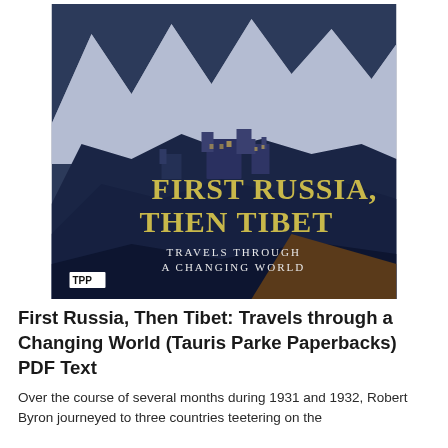[Figure (illustration): Book cover of 'First Russia, Then Tibet: Travels Through a Changing World' published by TPP (Tauris Parke Paperbacks). The cover shows a dramatic painting of a Tibetan monastery or fortress perched on dark blue rocky hills with snow-capped mountains in the background. Large gold/yellow serif text reads 'FIRST RUSSIA, THEN TIBET' and smaller white text reads 'TRAVELS THROUGH A CHANGING WORLD'. The publisher logo 'TPP' appears in a box at the bottom left.]
First Russia, Then Tibet: Travels through a Changing World (Tauris Parke Paperbacks) PDF Text
Over the course of several months during 1931 and 1932, Robert Byron journeyed to three countries teetering on the